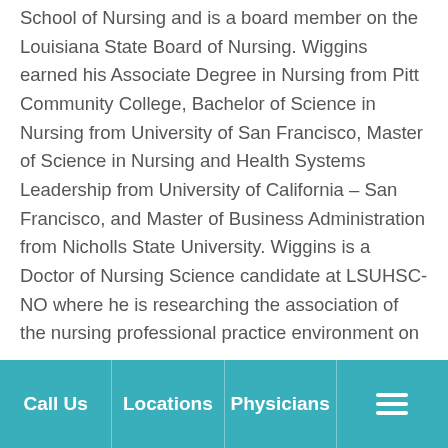School of Nursing and is a board member on the Louisiana State Board of Nursing. Wiggins earned his Associate Degree in Nursing from Pitt Community College, Bachelor of Science in Nursing from University of San Francisco, Master of Science in Nursing and Health Systems Leadership from University of California – San Francisco, and Master of Business Administration from Nicholls State University. Wiggins is a Doctor of Nursing Science candidate at LSUHSC-NO where he is researching the association of the nursing professional practice environment on pediatric acute care outcomes. Wiggins is a Fellow
Call Us | Locations | Physicians | [menu]